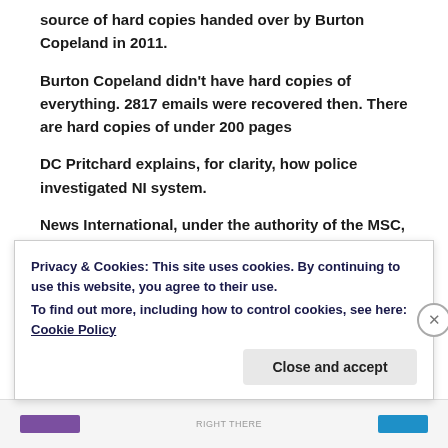source of hard copies handed over by Burton Copeland in 2011.
Burton Copeland didn't have hard copies of everything. 2817 emails were recovered then. There are hard copies of under 200 pages
DC Pritchard explains, for clarity, how police investigated NI system.
News International, under the authority of the MSC, offered to search the emails and make some available to police
Privacy & Cookies: This site uses cookies. By continuing to use this website, you agree to their use.
To find out more, including how to control cookies, see here: Cookie Policy
Close and accept